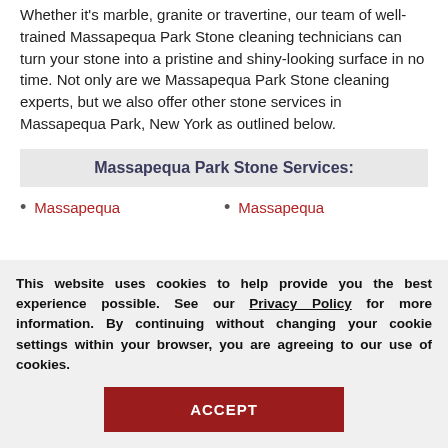Whether it's marble, granite or travertine, our team of well-trained Massapequa Park Stone cleaning technicians can turn your stone into a pristine and shiny-looking surface in no time. Not only are we Massapequa Park Stone cleaning experts, but we also offer other stone services in Massapequa Park, New York as outlined below.
Massapequa Park Stone Services:
Massapequa
Massapequa
This website uses cookies to help provide you the best experience possible. See our Privacy Policy for more information. By continuing without changing your cookie settings within your browser, you are agreeing to our use of cookies.
ACCEPT